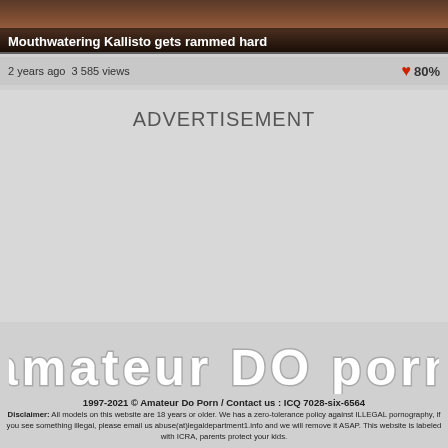[Figure (photo): Thumbnail image of video content at top of page]
Mouthwatering Kallisto gets rammed hard
2 years ago  3 585 views  ❤ 80%
ADVERTISEMENT
[Figure (logo): amateur DO porn logo text in white with gray outline]
1997-2021 © Amateur Do Porn / Contact us : ICQ 7028-six-6564
Disclaimer: All models on this website are 18 years or older. We has a zero-tolerance policy against ILLEGAL pornography, if you see something illegal, please email us abuse(at)legaldepartment1.info and we will remove it ASAP. This website is labeled with ICRA, parents protect your kids.